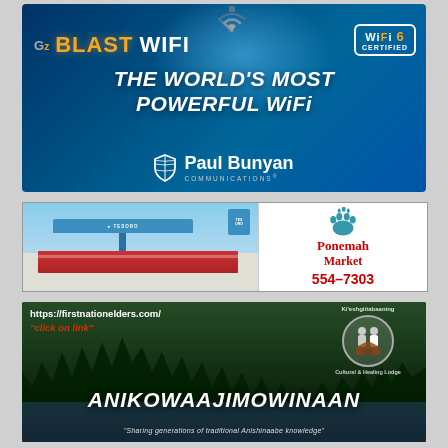[Figure (illustration): GZ Blast WiFi advertisement for Paul Bunyan Communications. Dark blue background with glowing light effect. Text: 'GZ BLAST WIFI', 'WiFi 6 CERTIFIED', 'THE WORLD'S MOST POWERFUL WIFI', Paul Bunyan Communications logo with shield icon.]
[Figure (illustration): Ponemah Market advertisement showing a Tesoro gas station photo on the left side and Ponemah Market branding with paw logo, phone number 554-7303 on the right side.]
[Figure (illustration): Anikowaajimowinaan advertisement with forest/water background. Shows URL https://firstnationelders.com/, 'click on link', Ki'eshgiitabaaning Cultural & Healing Lodge logo, large text ANIKOWAAJIMOWINAAN, and tagline 'Sharing generations of traditional Anishinaabe knowledge'.]